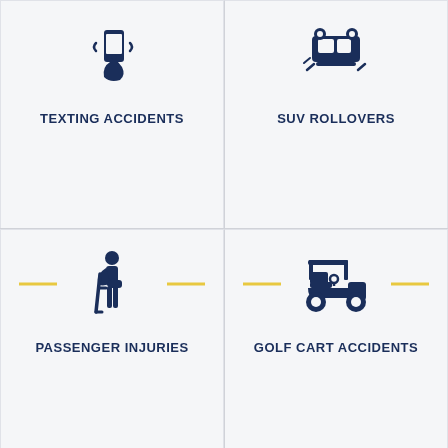[Figure (infographic): Texting accident icon with yellow horizontal lines on each side]
TEXTING ACCIDENTS
[Figure (infographic): SUV rollover icon with yellow horizontal lines on each side]
SUV ROLLOVERS
[Figure (infographic): Person on crutches icon with yellow horizontal lines on each side]
PASSENGER INJURIES
[Figure (infographic): Golf cart icon with yellow horizontal lines on each side]
GOLF CART ACCIDENTS
OUR FLORIDA OFFICES
We have 15 convenient office locations around Central Florida to better serve our auto accident clients.
LIVE CHAT › START NOW